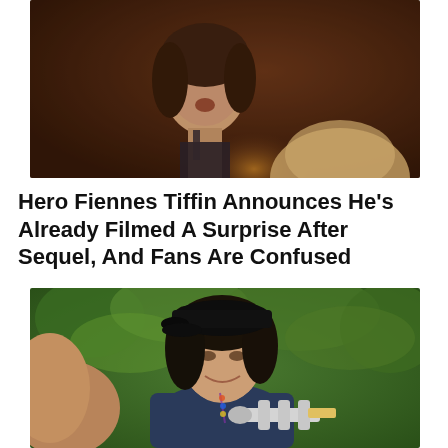[Figure (photo): A dark-toned cinematic still showing a young woman with dark hair looking with an open mouth expression, warm candlelight in the background, and a blonde person partially visible in the foreground.]
Hero Fiennes Tiffin Announces He’s Already Filmed A Surprise After Sequel, And Fans Are Confused
[Figure (photo): A woman with dark hair wearing a black cap and dark jacket smiles while holding a silver trumpet. She is seated outdoors with green foliage in the background and what appears to be a horse partially visible to the left.]